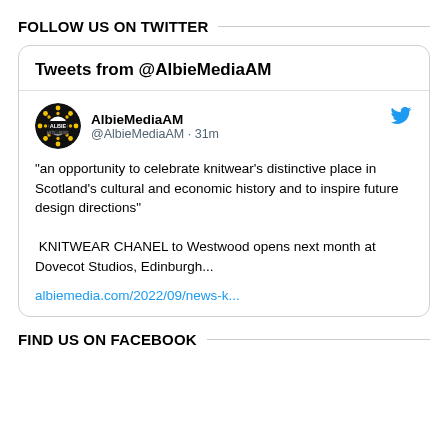FOLLOW US ON TWITTER
Tweets from @AlbieMediaAM
AlbieMediaAM
@AlbieMediaAM · 31m

"an opportunity to celebrate knitwear’s distinctive place in Scotland’s cultural and economic history and to inspire future design directions"

 KNITWEAR CHANEL to Westwood opens next month at Dovecot Studios, Edinburgh...

albiemedia.com/2022/09/news-k...
FIND US ON FACEBOOK